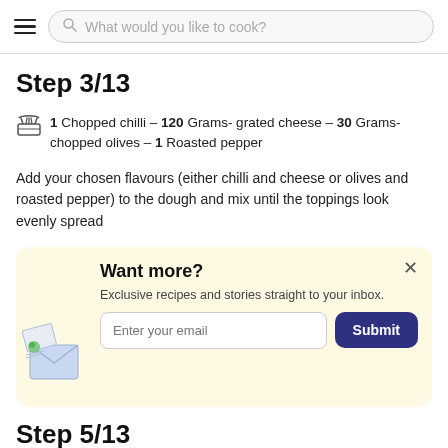What would you like to cook?
Step 3/13
1 Chopped chilli – 120 Grams- grated cheese – 30 Grams- chopped olives – 1 Roasted pepper
Add your chosen flavours (either chilli and cheese or olives and roasted pepper) to the dough and mix until the toppings look evenly spread
[Figure (illustration): Newsletter signup box with envelope illustration, 'Want more?' heading, subtitle 'Exclusive recipes and stories straight to your inbox.', email input field, and Submit button]
Step 5/13